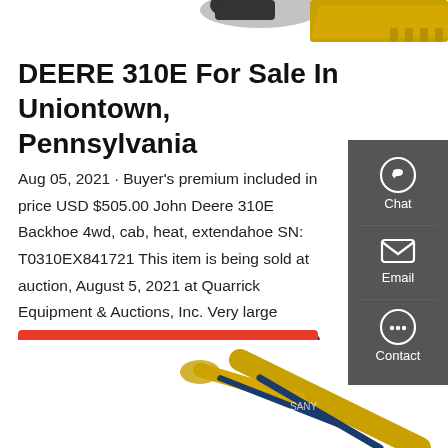[Figure (photo): Partial view of a yellow construction backhoe bucket/attachment at the top of the page]
DEERE 310E For Sale In Uniontown, Pennsylvania
Aug 05, 2021 · Buyer's premium included in price USD $505.00 John Deere 310E Backhoe 4wd, cab, heat, extendahoe SN: T0310EX841721 This item is being sold at auction, August 5, 2021 at Quarrick Equipment & Auctions, Inc. Very large construction and agricultural auction, please check out our full auction catalog for other items
[Figure (infographic): Dark grey sidebar with Chat, Email, and Contact icons and labels]
[Figure (photo): Partial view of a yellow/orange construction excavator arm at the bottom of the page]